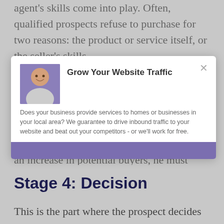agent's skills come into play. Often, qualified prospects refuse to purchase for two reasons: the product or service itself, or the seller's skills.
Surpassing this stage requires good product knowledge and sales skills. If a seller wants an increase in potential buyers, he must constantly work on his skills. A prospect can then move on to the next stage.
[Figure (screenshot): Modal popup with title 'Grow Your Website Traffic', a photo of a man on purple background, body text 'Does your business provide services to homes or businesses in your local area? We guarantee to drive inbound traffic to your website and beat out your competitors - or we'll work for free.' and a purple CTA button bar at the bottom. An X close button is in the top right.]
Stage 4: Decision
This is the part where the prospect decides whether or not to purchase. It is also where the